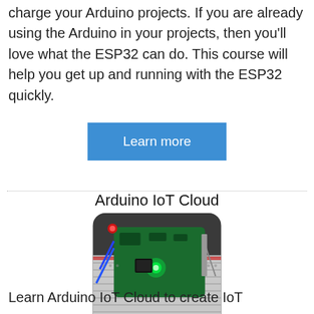charge your Arduino projects. If you are already using the Arduino in your projects, then you'll love what the ESP32 can do. This course will help you get up and running with the ESP32 quickly.
Learn more
Arduino IoT Cloud
[Figure (photo): Arduino board on a breadboard with green LED lit, TechExplorations watermark in lower right corner]
Learn Arduino IoT Cloud to create IoT